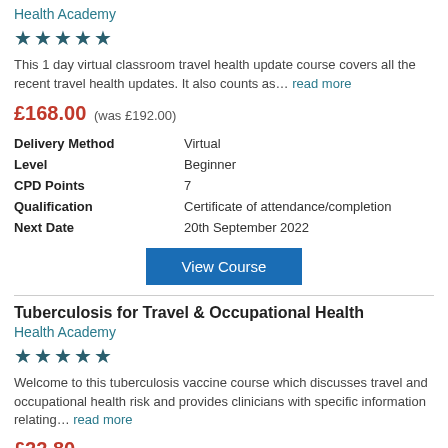Health Academy
[Figure (other): Five gold/teal stars rating]
This 1 day virtual classroom travel health update course covers all the recent travel health updates. It also counts as… read more
£168.00 (was £192.00)
|  |  |
| --- | --- |
| Delivery Method | Virtual |
| Level | Beginner |
| CPD Points | 7 |
| Qualification | Certificate of attendance/completion |
| Next Date | 20th September 2022 |
View Course
Tuberculosis for Travel & Occupational Health
Health Academy
[Figure (other): Five gold/teal stars rating]
Welcome to this tuberculosis vaccine course which discusses travel and occupational health risk and provides clinicians with specific information relating… read more
£22.80
|  |  |
| --- | --- |
| Delivery Method | eLearning |
| CPD Points | 1.5 |